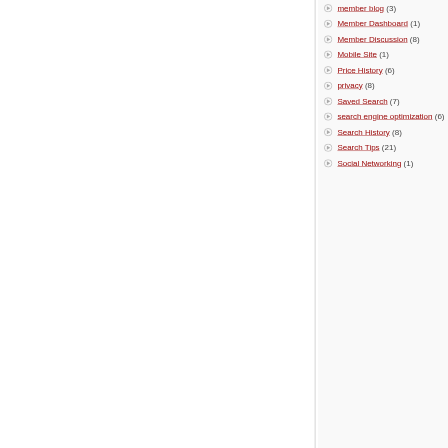member blog (3)
Member Dashboard (1)
Member Discussion (8)
Mobile Site (1)
Price History (6)
privacy (8)
Saved Search (7)
search engine optimization (6)
Search History (8)
Search Tips (21)
Social Networking (1)